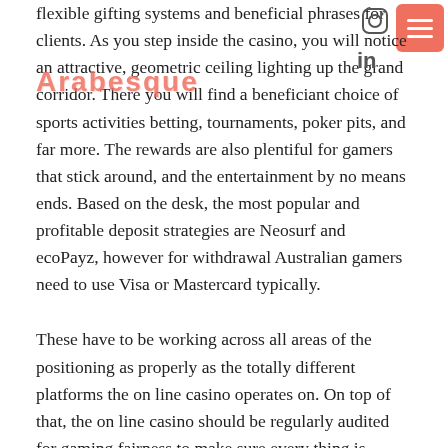[Figure (logo): Arabesque text logo watermark in orange/salmon color]
[Figure (infographic): Instagram icon (camera outline) in top-right area, LinkedIn 'in' icon below it, and a salmon/orange hamburger menu button in the top-right corner]
flexible gifting systems and beneficial phrases for clients. As you step inside the casino, you will notice an attractive, geometric ceiling lighting up the grand corridor. There you will find a beneficiant choice of sports activities betting, tournaments, poker pits, and far more. The rewards are also plentiful for gamers that stick around, and the entertainment by no means ends. Based on the desk, the most popular and profitable deposit strategies are Neosurf and ecoPayz, however for withdrawal Australian gamers need to use Visa or Mastercard typically.
These have to be working across all areas of the positioning as properly as the totally different platforms the on line casino operates on. On top of that, the on line casino should be regularly audited for gaming fairness to make sure every thing is working in an unbiased method.